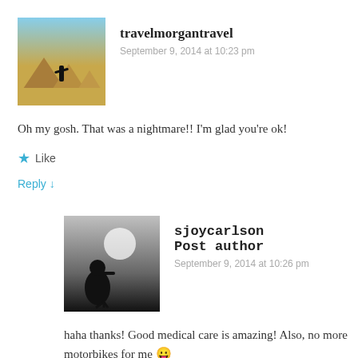[Figure (photo): Avatar photo of travelmorgantravel showing person jumping near pyramids in Egypt]
travelmorgantravel
September 9, 2014 at 10:23 pm
Oh my gosh. That was a nightmare!! I'm glad you're ok!
Like
Reply ↓
[Figure (photo): Avatar photo of sjoycarlson showing silhouette of photographer against bright sky]
sjoycarlson Post author
September 9, 2014 at 10:26 pm
haha thanks! Good medical care is amazing! Also, no more motorbikes for me 😛
Like